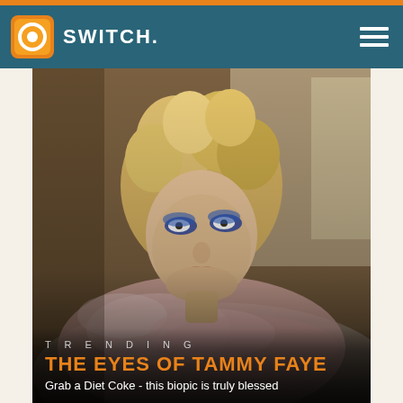SWITCH.
[Figure (photo): A woman with curly blonde hair, heavy blue eye makeup, wearing a pink feathered boa, reclining on a sofa — still from the film 'The Eyes of Tammy Faye']
TRENDING
THE EYES OF TAMMY FAYE
Grab a Diet Coke - this biopic is truly blessed